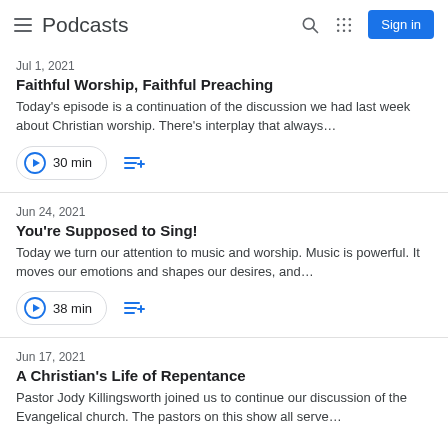Podcasts
Jul 1, 2021
Faithful Worship, Faithful Preaching
Today's episode is a continuation of the discussion we had last week about Christian worship. There's interplay that always…
30 min
Jun 24, 2021
You're Supposed to Sing!
Today we turn our attention to music and worship. Music is powerful. It moves our emotions and shapes our desires, and…
38 min
Jun 17, 2021
A Christian's Life of Repentance
Pastor Jody Killingsworth joined us to continue our discussion of the Evangelical church. The pastors on this show all serve…